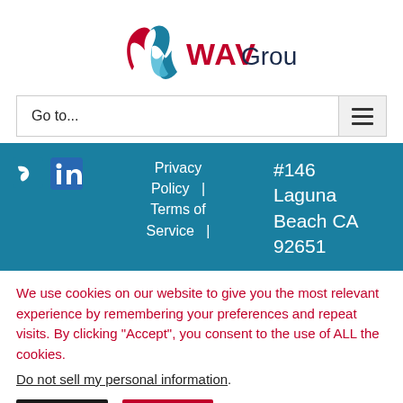[Figure (logo): WAV Group logo with stylized blue and red ribbon W shape and dark blue text 'WAVGroup']
Go to...
[Figure (screenshot): Teal footer bar with social media icons (Vimeo, LinkedIn), Privacy Policy | Terms of Service | links, and address #146 Laguna Beach CA 92651]
We use cookies on our website to give you the most relevant experience by remembering your preferences and repeat visits. By clicking “Accept”, you consent to the use of ALL the cookies.
Do not sell my personal information.
Settings
Accept